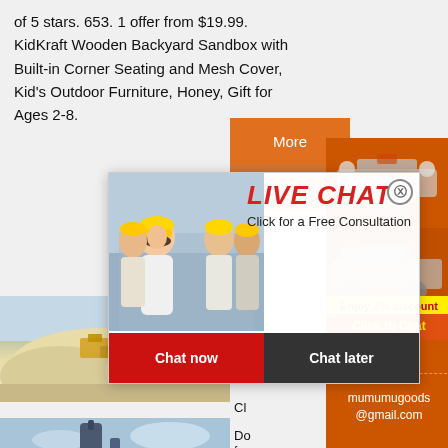of 5 stars. 653. 1 offer from $19.99. KidKraft Wooden Backyard Sandbox with Built-in Corner Seating and Mesh Cover, Kid's Outdoor Furniture, Honey, Gift for Ages 2-8.
[Figure (screenshot): Orange 'More' button UI element]
[Figure (screenshot): Orange 'Get Price' button UI element (partially visible)]
[Figure (screenshot): Right orange sidebar panel with machinery images, discount bar, Click to Chat, Enquiry, and email contact]
[Figure (screenshot): Live Chat overlay popup with workers photo, LIVE CHAT heading, 'Click for a Free Consultation' text, Chat now and Chat later buttons, and close button]
[Figure (photo): Sand quarry / mining site photo]
[Figure (photo): Industrial plant / equipment photo (partially visible)]
Ar...
Cr...
Cl...
Do...
for